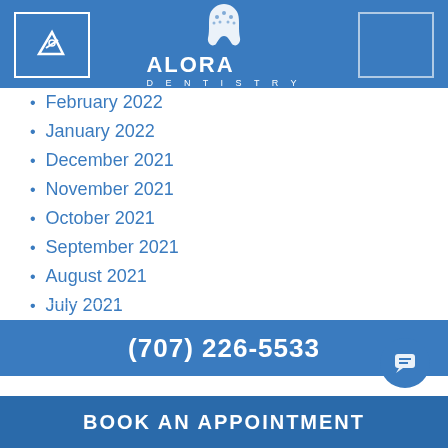[Figure (logo): Alora Dentistry header with tooth logo, left icon box, right placeholder box]
February 2022
January 2022
December 2021
November 2021
October 2021
September 2021
August 2021
July 2021
June 2021
May 2021
April 2021
March 2021
(707) 226-5533
BOOK AN APPOINTMENT